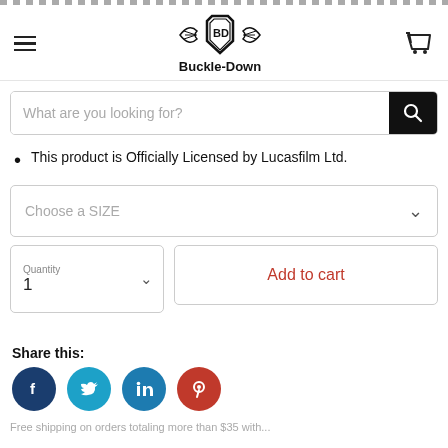[Figure (logo): Buckle-Down winged shield logo with text 'Buckle-Down']
[Figure (screenshot): Search bar with placeholder 'What are you looking for?' and black search button]
This product is Officially Licensed by Lucasfilm Ltd.
[Figure (screenshot): Choose a SIZE dropdown select]
[Figure (screenshot): Quantity selector showing 1 and Add to cart button]
Share this:
[Figure (screenshot): Social media icons: Facebook, Twitter, LinkedIn, Pinterest]